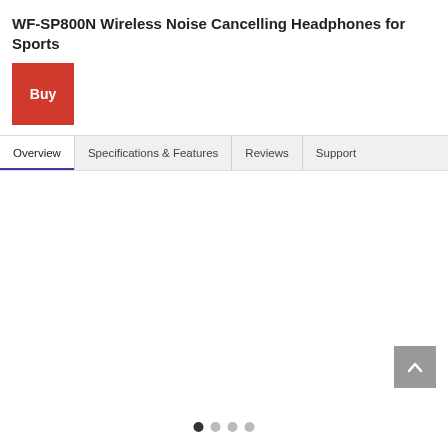WF-SP800N Wireless Noise Cancelling Headphones for Sports
Buy
Overview | Specifications & Features | Reviews | Support
[Figure (screenshot): Empty white content area below the navigation bar]
[Figure (other): Back to top button (upward chevron arrow on gray background)]
[Figure (other): Carousel pagination dots: 4 dots, first filled dark, rest light gray]